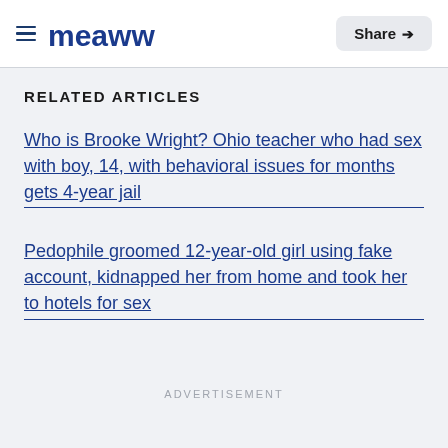≡ meaww  Share
RELATED ARTICLES
Who is Brooke Wright? Ohio teacher who had sex with boy, 14, with behavioral issues for months gets 4-year jail
Pedophile groomed 12-year-old girl using fake account, kidnapped her from home and took her to hotels for sex
ADVERTISEMENT